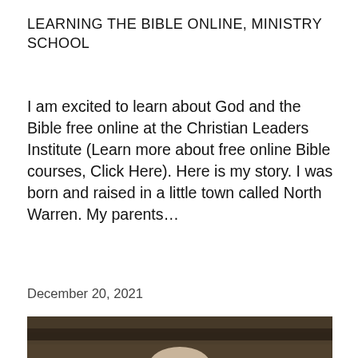LEARNING THE BIBLE ONLINE, MINISTRY SCHOOL
I am excited to learn about God and the Bible free online at the Christian Leaders Institute (Learn more about free online Bible courses, Click Here). Here is my story. I was born and raised in a little town called North Warren. My parents…
December 20, 2021
[Figure (photo): Partial photo of a person outdoors, cropped at bottom of page, showing top of head against dark foliage background.]